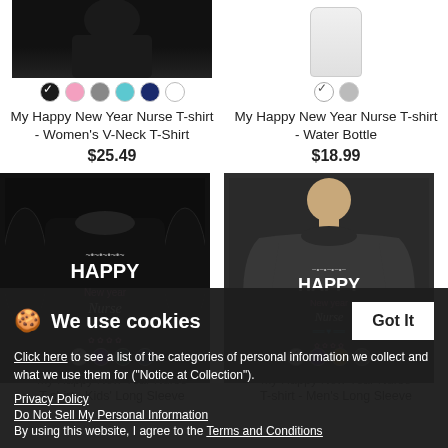[Figure (photo): Black women's V-neck t-shirt product image (cropped, top visible)]
[Figure (photo): White water bottle product image]
My Happy New Year Nurse T-shirt - Women's V-Neck T-Shirt
$25.49
My Happy New Year Nurse T-shirt - Water Bottle
$18.99
[Figure (photo): Black long sleeve sweatshirt with Happy New Year Nurse design]
[Figure (photo): Dark gray men's long sleeve sweatshirt with Happy New Year Nurse design]
We use cookies
Click here to see a list of the categories of personal information we collect and what we use them for ("Notice at Collection").
Privacy Policy
Do Not Sell My Personal Information
By using this website, I agree to the Terms and Conditions
My Happy New Year Nurse T-shirt - Kids' Long Sleeve
My Happy New Year Nurse T-shirt - Men's Long Sleeve